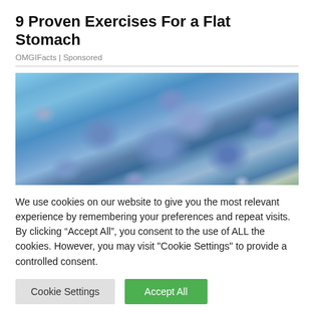9 Proven Exercises For a Flat Stomach
OMGIFacts | Sponsored
[Figure (photo): Close-up macro photo of blue borage flowers with reddish-brown stems against a blurred green background]
We use cookies on our website to give you the most relevant experience by remembering your preferences and repeat visits. By clicking “Accept All”, you consent to the use of ALL the cookies. However, you may visit "Cookie Settings" to provide a controlled consent.
Cookie Settings  Accept All